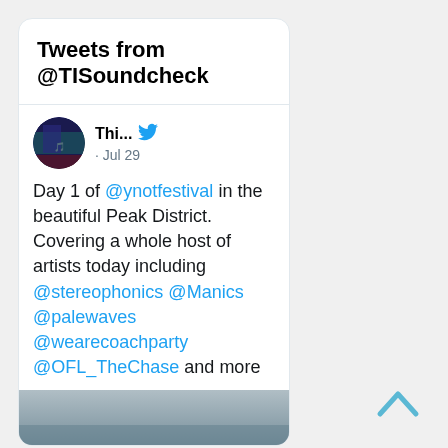Tweets from @TISoundcheck
[Figure (photo): Twitter avatar for TISoundcheck account, circular profile image with dark blue/teal tones]
Thi... · Jul 29
Day 1 of @ynotfestival in the beautiful Peak District. Covering a whole host of artists today including @stereophonics @Manics @palewaves @wearecoachparty @OFL_TheChase and more
[Figure (photo): Partial landscape/sky photograph at the bottom of the tweet card]